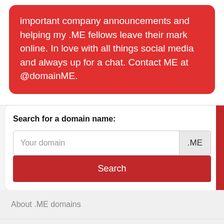important company announcements and helping my .ME fellows leave their mark online. In love with all things social media and always up for a chat. Contact ME at @domainME.
Search for a domain name:
Your domain
.ME
Search
About .ME domains
Premium domains
FAQ